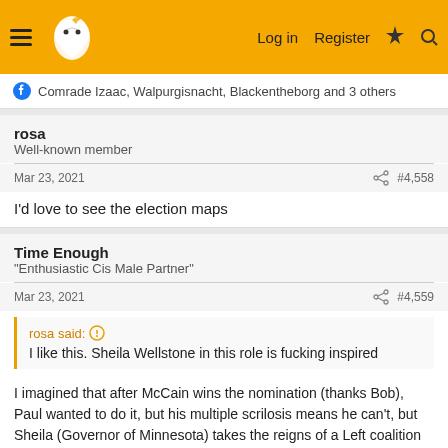Log in  Register
Comrade Izaac, Walpurgisnacht, Blackentheborg and 3 others
rosa
Well-known member
Mar 23, 2021  #4,558
I'd love to see the election maps
Time Enough
"Enthusiastic Cis Male Partner"
Mar 23, 2021  #4,559
rosa said: I like this. Sheila Wellstone in this role is fucking inspired
I imagined that after McCain wins the nomination (thanks Bob), Paul wanted to do it, but his multiple scrilosis means he can't, but Sheila (Governor of Minnesota) takes the reigns of a Left coalition and does incredibly well against McCain and gains Minnesota and D.C.